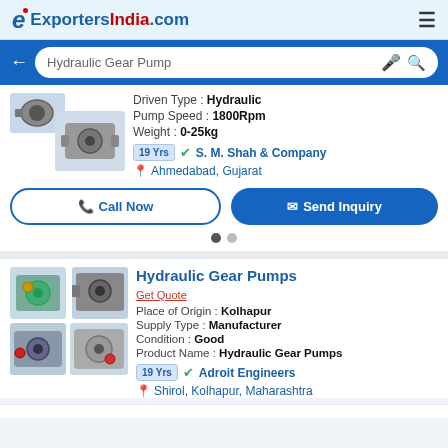ExportersIndia.com
Hydraulic Gear Pump (search bar)
Driven Type : Hydraulic
Pump Speed : 1800Rpm
Weight : 0-25kg
19 Yrs S. M. Shah & Company
Ahmedabad, Gujarat
Call Now | Send Inquiry
Hydraulic Gear Pumps
Get Quote
Place of Origin : Kolhapur
Supply Type : Manufacturer
Condition : Good
Product Name : Hydraulic Gear Pumps
19 Yrs Adroit Engineers
Shirol, Kolhapur, Maharashtra